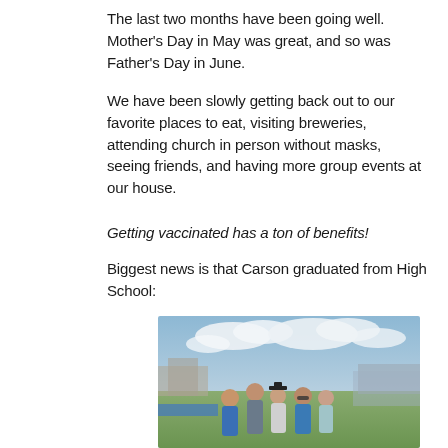The last two months have been going well. Mother's Day in May was great, and so was Father's Day in June.
We have been slowly getting back out to our favorite places to eat, visiting breweries, attending church in person without masks, seeing friends, and having more group events at our house.
Getting vaccinated has a ton of benefits!
Biggest news is that Carson graduated from High School:
[Figure (photo): Family group photo at an outdoor high school graduation ceremony. Five people posing together, with one person wearing a graduation cap and gown. Buildings and bleachers visible in background under a partly cloudy sky.]